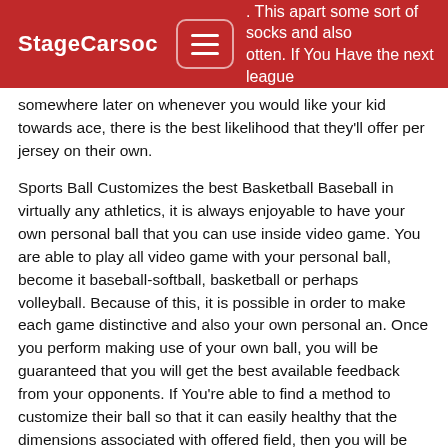StageCarsoc | . This apart some sort of socks and also otten. If You Have the next league somewhere later on whenever you would like your kid towards ace, there is the best likelihood that they'll offer per jersey on their own.
Sports Ball Customizes the best Basketball Baseball in virtually any athletics, it is always enjoyable to have your own personal ball that you can use inside video game. You are able to play all video game with your personal ball, become it baseball-softball, basketball or perhaps volleyball. Because of this, it is possible in order to make each game distinctive and also your own personal an. Once you perform making use of your own ball, you will be guaranteed that you will get the best available feedback from your opponents. If You're able to find a method to customize their ball so that it can easily healthy that the dimensions associated with offered field, then you will be able to find down which you come with the most customized tool for your athletics. Step three Draw 5 hexagons, an on each negative of your pentagon. Fill white color and be detailed in regards to the measurements as all items shouldn't overlap one another. Today it's going to seem like your flower out of pentagon furthermore hexagons. In the event that you face almost any downside about